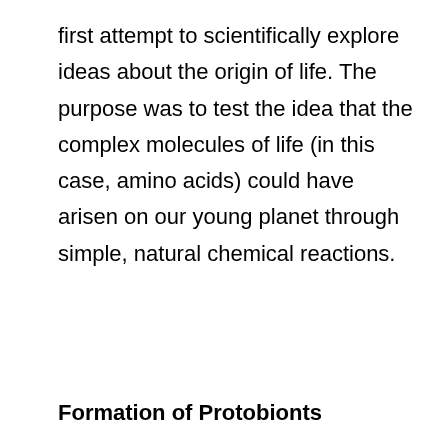first attempt to scientifically explore ideas about the origin of life. The purpose was to test the idea that the complex molecules of life (in this case, amino acids) could have arisen on our young planet through simple, natural chemical reactions.
Formation of Protobionts